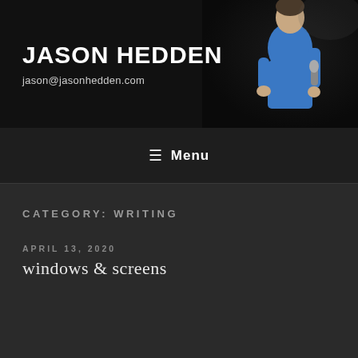JASON HEDDEN
jason@jasonhedden.com
[Figure (photo): Person holding microphone wearing blue shirt, dark background]
☰ Menu
CATEGORY: WRITING
APRIL 13, 2020
windows & screens